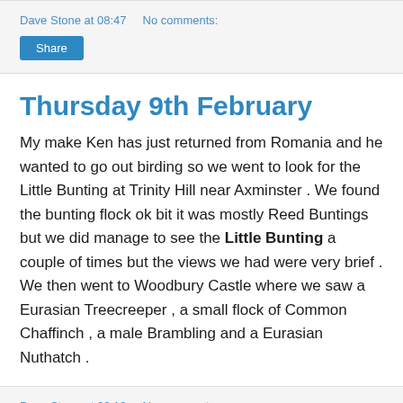Dave Stone at 08:47    No comments:
Share
Thursday 9th February
My make Ken has just returned from Romania and he wanted to go out birding so we went to look for the Little Bunting at Trinity Hill near Axminster . We found the bunting flock ok bit it was mostly Reed Buntings but we did manage to see the Little Bunting a couple of times but the views we had were very brief . We then went to Woodbury Castle where we saw a Eurasian Treecreeper , a small flock of Common Chaffinch , a male Brambling and a Eurasian Nuthatch .
Dave Stone at 02:13    No comments: